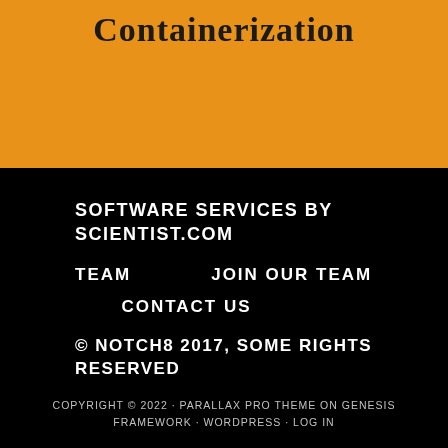Containerization
SOFTWARE SERVICES BY SCIENTIST.COM
TEAM
JOIN OUR TEAM
CONTACT US
© NOTCH8 2017, SOME RIGHTS RESERVED
COPYRIGHT © 2022 · PARALLAX PRO THEME ON GENESIS FRAMEWORK · WORDPRESS · LOG IN